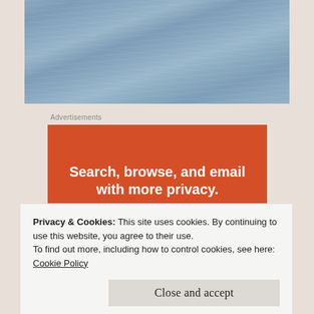[Figure (photo): Ocean water surface photo showing blue-grey rippled water texture]
Advertisements
[Figure (other): Advertisement banner with orange background. Text: 'Search, browse, and email with more privacy. All in One Free App']
Privacy & Cookies: This site uses cookies. By continuing to use this website, you agree to their use.
To find out more, including how to control cookies, see here: Cookie Policy
Close and accept